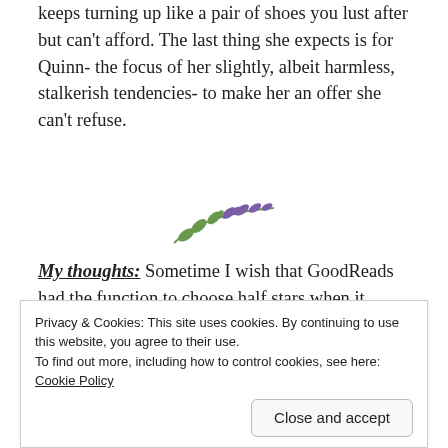keeps turning up like a pair of shoes you lust after but can't afford. The last thing she expects is for Quinn- the focus of her slightly, albeit harmless, stalkerish tendencies- to make her an offer she can't refuse.
[Figure (illustration): A decorative botanical illustration of a green and purple leaf branch divider]
My thoughts: Sometime I wish that GoodReads had the function to choose half stars when it comes to rating. Because this is one of those books that are more a 4 star in rating than a 2 but did not quite reach all the way. So more like 3,5. It is a good book, I liked it, but the 300 + pages of self esteem rant totally destroyed it for me.
Privacy & Cookies: This site uses cookies. By continuing to use this website, you agree to their use.
To find out more, including how to control cookies, see here: Cookie Policy
Close and accept